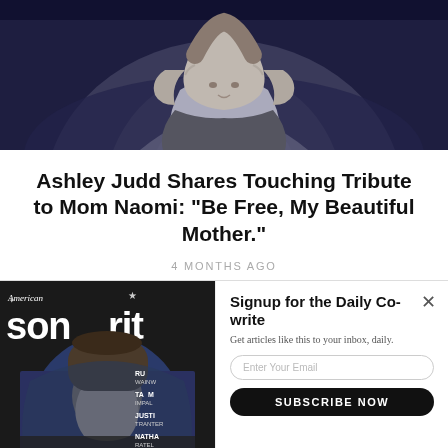[Figure (photo): Person speaking at a podium or event, dark background with blue stage lighting, woman with long dark hair visible from shoulders up]
Ashley Judd Shares Touching Tribute to Mom Naomi: “Be Free, My Beautiful Mother.”
4 MONTHS AGO
[Figure (photo): American Songwriter magazine cover featuring James Taylor seated, wearing a cap and dark jacket, with various contributor names on the right side including RU WAINW, TAM IMPAL, JUSTI TRANTE, NATHA RATEL]
[Figure (screenshot): Email signup popup overlay: 'Signup for the Daily Co-write' with subtitle 'Get articles like this to your inbox, daily.' Email input field, SUBSCRIBE NOW button, NO THANKS link, and X close button]